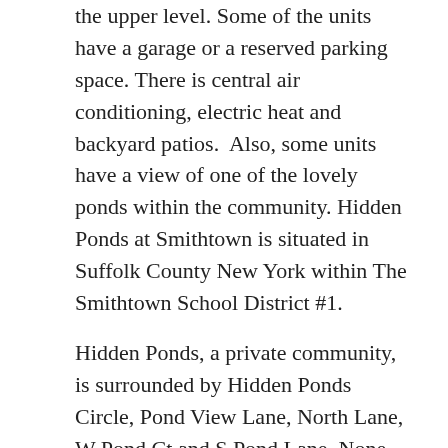the upper level. Some of the units have a garage or a reserved parking space. There is central air conditioning, electric heat and backyard patios. Also, some units have a view of one of the lovely ponds within the community. Hidden Ponds at Smithtown is situated in Suffolk County New York within The Smithtown School District #1.
Hidden Ponds, a private community, is surrounded by Hidden Ponds Circle, Pond View Lane, North Lane, W Pond Ct,and S Pond Lane. None of the units here have basements.
Sellers: If you'd like to know the value of your Hidden Ponds residence, call us at 631-805-4400 (c)
Buyers: If you're not working with other agents, and you are looking for a true Professional Real Estate Teamson Long Island, be there for the other selling...